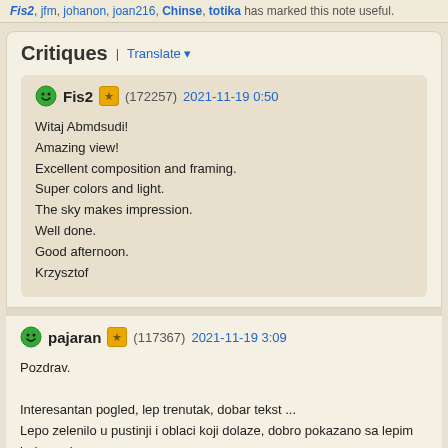Fis2, jfm, johanon, joan216, Chinse, totika has marked this note useful.
Critiques | Translate
Fis2 (172257) 2021-11-19 0:50

Witaj Abmdsudi!
Amazing view!
Excellent composition and framing.
Super colors and light.
The sky makes impression.
Well done.
Good afternoon.
Krzysztof
pajaran (117367) 2021-11-19 3:09

Pozdrav.

Interesantan pogled, lep trenutak, dobar tekst ...
Lepo zelenilo u pustinji i oblaci koji dolaze, dobro pokazano sa lepim bojama, ko uhvacenim trenutkom.
Dobar rad, lepa fotografija.
Lepa priroda i trenutak sa oblacima koji najavljuju promenu vremena.

Zelim vam lepo popodne, sve najbolje za vikend.